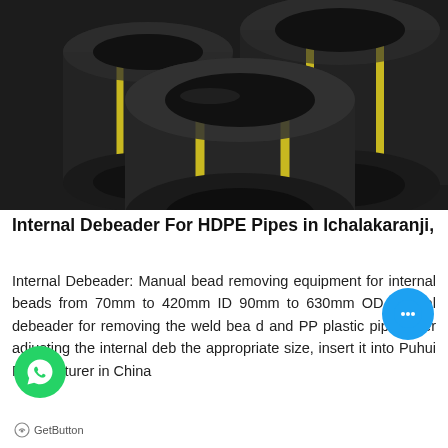[Figure (photo): Three large black HDPE pipes with yellow stripes arranged together, shown against a white background]
Internal Debeader For HDPE Pipes in Ichalakaranji,
Internal Debeader: Manual bead removing equipment for internal beads from 70mm to 420mm ID 90mm to 630mm OD.Internal debeader for removing the weld bead and PP plastic pipe. After adjusting the internal deb the appropriate size, insert it into Puhui Pipe facturer in China